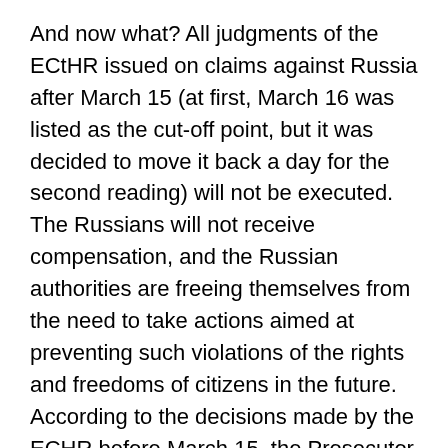And now what? All judgments of the ECtHR issued on claims against Russia after March 15 (at first, March 16 was listed as the cut-off point, but it was decided to move it back a day for the second reading) will not be executed. The Russians will not receive compensation, and the Russian authorities are freeing themselves from the need to take actions aimed at preventing such violations of the rights and freedoms of citizens in the future. According to the decisions made by the ECHR before March 15, the Prosecutor General's Office, which is in charge of relations with the Strasbourg Court, has the right to pay compensation. But only in Russian rubles and only by transfer to Russian banks, Daniil Bessarabov, First Deputy Head of the Committee on State Building and Legislation (ER), explained during the plenary session. Transfers to banks so-called. states “unfriendly” to Russia (there are currently 48 of them in the list approved by the Foreign Ministry) are prohibited. This means that non-Russians or Russians